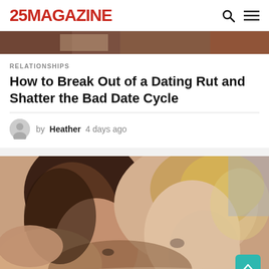25MAGAZINE
[Figure (photo): Hero banner strip showing a blurred scene of people dining]
RELATIONSHIPS
How to Break Out of a Dating Rut and Shatter the Bad Date Cycle
by Heather 4 days ago
[Figure (photo): Close-up photo of a man and woman, man leaning his head on the woman's shoulder, both with neutral expressions]